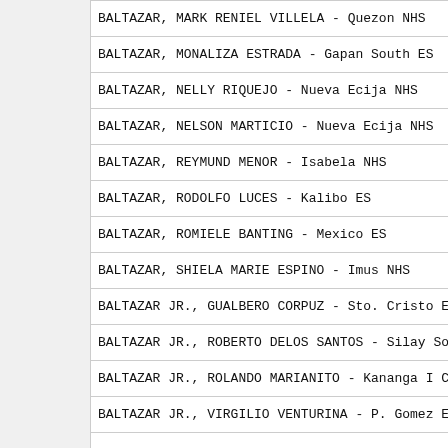BALTAZAR, MARK RENIEL VILLELA - Quezon NHS
BALTAZAR, MONALIZA ESTRADA - Gapan South ES
BALTAZAR, NELLY RIQUEJO - Nueva Ecija NHS
BALTAZAR, NELSON MARTICIO - Nueva Ecija NHS
BALTAZAR, REYMUND MENOR - Isabela NHS
BALTAZAR, RODOLFO LUCES - Kalibo ES
BALTAZAR, ROMIELE BANTING - Mexico ES
BALTAZAR, SHIELA MARIE ESPINO - Imus NHS
BALTAZAR JR., GUALBERO CORPUZ - Sto. Cristo ES
BALTAZAR JR., ROBERTO DELOS SANTOS - Silay South
BALTAZAR JR., ROLANDO MARIANITO - Kananga I CS
BALTAZAR JR., VIRGILIO VENTURINA - P. Gomez ES